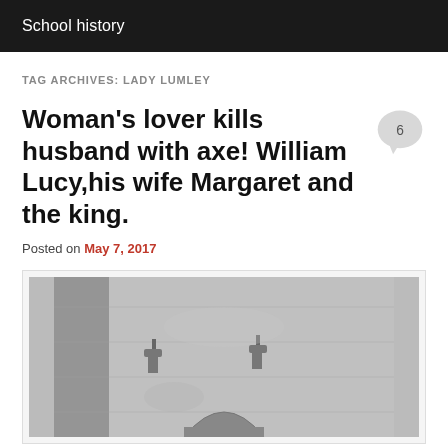School history
TAG ARCHIVES: LADY LUMLEY
Woman's lover kills husband with axe! William Lucy,his wife Margaret and the king.
Posted on May 7, 2017
[Figure (photo): Black and white photograph of an old stone wall or architectural feature, possibly a doorway or niche with metal fixtures]